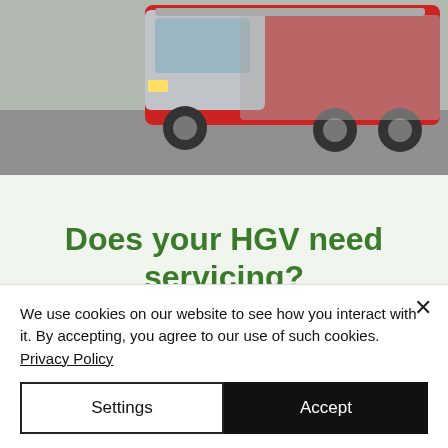[Figure (photo): Photo of a red and silver HGV/truck parked on a concrete surface, viewed from above and the front-left angle.]
Does your HGV need servicing?
Our trusted in-house team can help keep the wheels turning on your commercial vehicle.
We use cookies on our website to see how you interact with it. By accepting, you agree to our use of such cookies. Privacy Policy
Settings
Accept